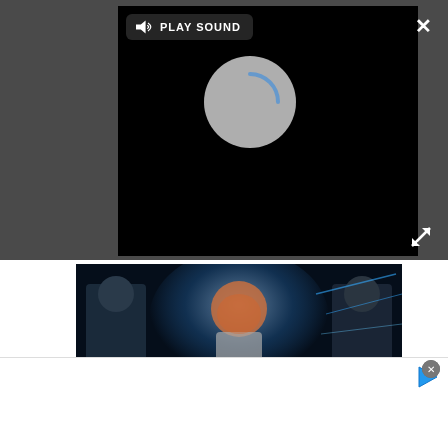[Figure (screenshot): Dark UI overlay with PLAY SOUND button and loading spinner on black video panel]
[Figure (photo): Movie/game promotional image: young person in center with sci-fi armored characters flanking, blue glowing light background]
>> CueMix FX cross-platform mixing software --
[Figure (screenshot): Advertisement bar at bottom with play icon and close button]